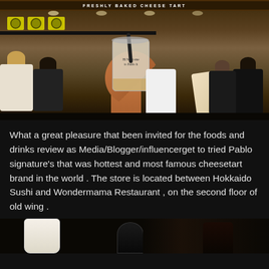[Figure (photo): Photo of a hand holding an iced drink cup with 'Hi Welcome to Pablo' written on it, in front of a Pablo Freshly Baked Cheese Tart store with yellow signage, staff in black uniforms, and shoppers in background]
What a great pleasure that been invited for the foods and drinks review as Media/Blogger/influencerget to tried Pablo signature's that was hottest and most famous cheesetart brand in the world . The store is located between Hokkaido Sushi and Wondermama Restaurant , on the second floor of old wing .
[Figure (photo): Partial photo at bottom showing cups and dark background — appears to be drinks or food items on a table]